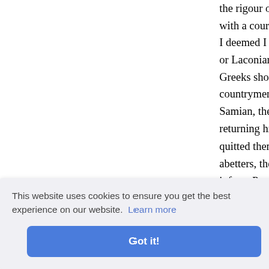the rigour of their confinement; that with a court in which I suffered them to I deemed I could repose all trust—not or Laconians, Pausanias. No; I deemed Greeks should demand an account of countrymen of those who have ever th Samian, the other a Plataean. These returning hither from the vessel, I visite quitted them soon, suspecting nothing abetters, the sentinels. I hastened first inform Pausanias in his galley. If I hav error, but acquit my honesty."
"And what," said Cimon, abruptly, "led ear the t , Greeks.
s had inc ion produ than the exclamations—served still more to em
This website uses cookies to ensure you get the best experience on our website. Learn more
Got it!